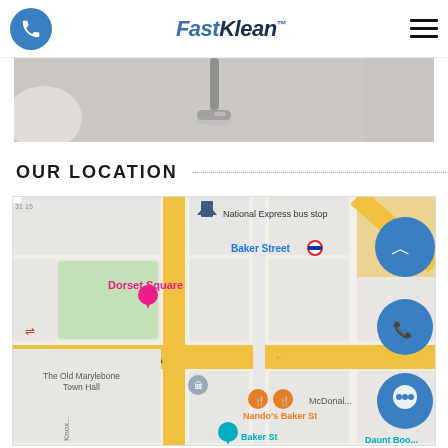FastKlean
[Figure (photo): Partial view of a carpet with a vacuum cleaner head/nozzle visible, showing a cleaning service in action]
OUR LOCATION
[Figure (map): Google Maps screenshot showing the area around Dorset Square and Baker Street in London, with landmarks including National Express bus stop, Baker Street tube station, The Old Marylebone Town Hall, Nando's Baker St, McDonald's, and Daunt Books. The A501 road is prominently shown in yellow.]